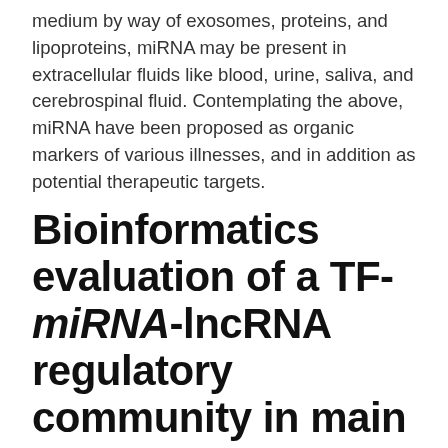medium by way of exosomes, proteins, and lipoproteins, miRNA may be present in extracellular fluids like blood, urine, saliva, and cerebrospinal fluid. Contemplating the above, miRNA have been proposed as organic markers of various illnesses, and in addition as potential therapeutic targets.
Bioinformatics evaluation of a TF-miRNA-lncRNA regulatory community in main depressive dysfunction
Main depressive dysfunction (MDD) is a extremely